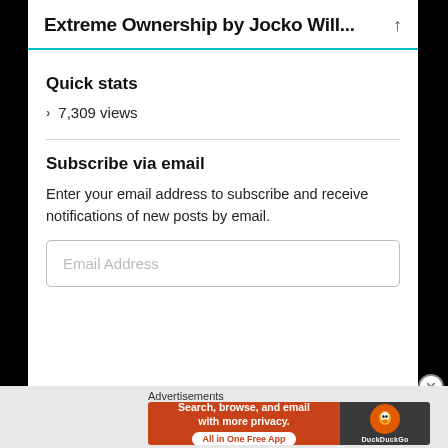Extreme Ownership by Jocko Will...
Quick stats
7,309 views
Subscribe via email
Enter your email address to subscribe and receive notifications of new posts by email.
Email Address
[Figure (screenshot): DuckDuckGo advertisement banner: 'Search, browse, and email with more privacy. All in One Free App' with DuckDuckGo logo on dark background]
Advertisements